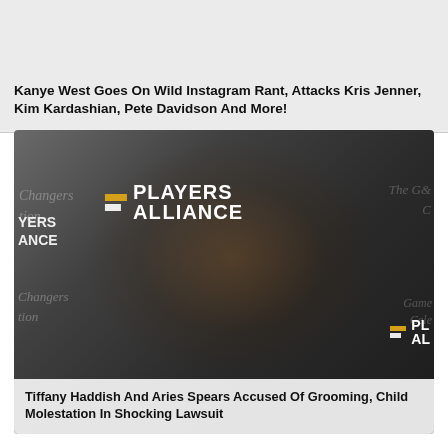Kanye West Goes On Wild Instagram Rant, Attacks Kris Jenner, Kim Kardashian, Pete Davidson And More!
[Figure (photo): Photo of Tiffany Haddish at a Players Alliance event, wearing a black sparkly sleeveless turtleneck. Background shows Players Alliance step-and-repeat banner.]
Tiffany Haddish And Aries Spears Accused Of Grooming, Child Molestation In Shocking Lawsuit